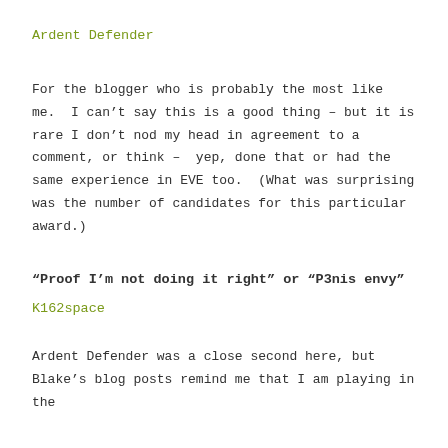Ardent Defender
For the blogger who is probably the most like me.  I can’t say this is a good thing – but it is rare I don’t nod my head in agreement to a comment, or think –  yep, done that or had the same experience in EVE too.  (What was surprising was the number of candidates for this particular award.)
“Proof I’m not doing it right” or “P3nis envy”
K162space
Ardent Defender was a close second here, but Blake’s blog posts remind me that I am playing in the